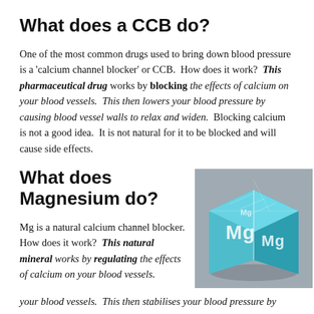What does a CCB do?
One of the most common drugs used to bring down blood pressure is a 'calcium channel blocker' or CCB.  How does it work?  This pharmaceutical drug works by blocking the effects of calcium on your blood vessels.  This then lowers your blood pressure by causing blood vessel walls to relax and widen.  Blocking calcium is not a good idea.  It is not natural for it to be blocked and will cause side effects.
What does Magnesium do?
[Figure (photo): A light blue metallic cube with 'Mg' and magnesium element symbols on its faces, shown in a 3D rendered style against a grey background.]
Mg is a natural calcium channel blocker.  How does it work?  This natural mineral works by regulating the effects of calcium on your blood vessels.  This then stabilises your blood pressure by